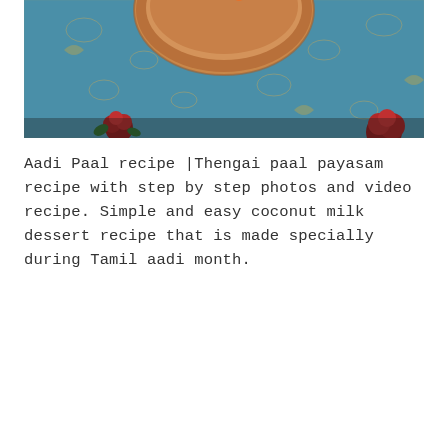[Figure (photo): Overhead photo of a bowl of Aadi Paal / Thengai paal payasam (coconut milk dessert) on a decorative blue and gold patterned fabric, with red roses visible in the lower portion of the image.]
Aadi Paal recipe |Thengai paal payasam recipe with step by step photos and video recipe. Simple and easy coconut milk dessert recipe that is made specially during Tamil aadi month.